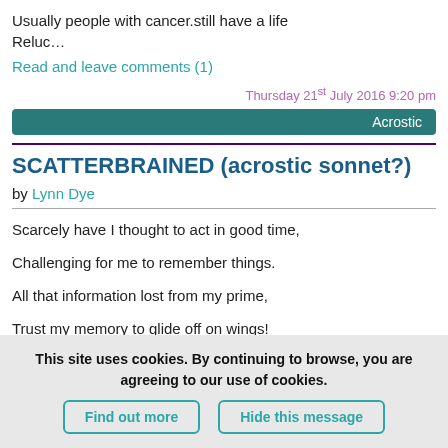Usually people with cancer.still have a life
Reluc…
Read and leave comments (1)
Thursday 21st July 2016 9:20 pm
Acrostic
SCATTERBRAINED (acrostic sonnet?)
by Lynn Dye
Scarcely have I thought to act in good time,
Challenging for me to remember things.
All that information lost from my prime,
Trust my memory to glide off on wings!
These commodities I forget to buy…
This site uses cookies. By continuing to browse, you are agreeing to our use of cookies.
Find out more
Hide this message